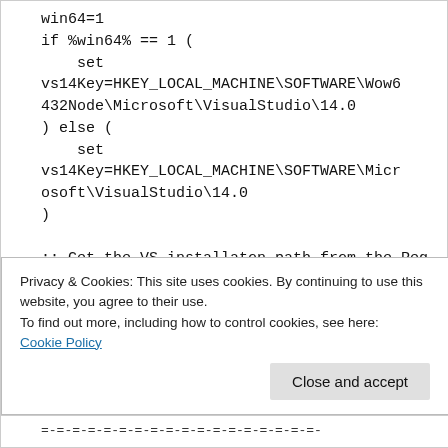win64=1
if %win64% == 1 (
    set vs14Key=HKEY_LOCAL_MACHINE\SOFTWARE\Wow6432Node\Microsoft\VisualStudio\14.0
) else (
    set vs14Key=HKEY_LOCAL_MACHINE\SOFTWARE\Microsoft\VisualStudio\14.0
)

:: Get the VS installaton path from the Registry
for /f "tokens=2*" %%i in ('reg.exe query %vs14Key% /v InstallDir') do set
Privacy & Cookies: This site uses cookies. By continuing to use this website, you agree to their use.
To find out more, including how to control cookies, see here:
Cookie Policy
Close and accept
=-=-=-=-=-=-=-=-=-=-=-=-=-=-=-=-=-=-